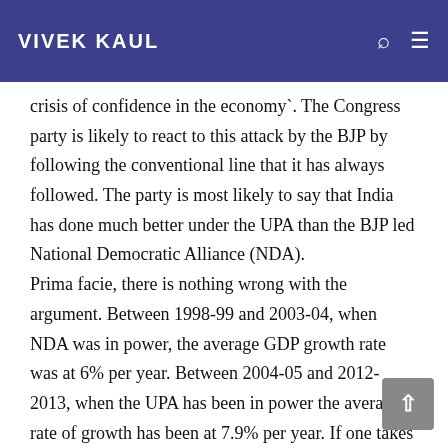VIVEK KAUL
crisis of confidence in the economy`. The Congress party is likely to react to this attack by the BJP by following the conventional line that it has always followed. The party is most likely to say that India has done much better under the UPA than the BJP led National Democratic Alliance (NDA).

Prima facie, there is nothing wrong with the argument. Between 1998-99 and 2003-04, when NDA was in power, the average GDP growth rate was at 6% per year. Between 2004-05 and 2012-2013, when the UPA has been in power the average rate of growth has been at 7.9% per year. If one takes into account, the GDP growth rate for this financial year i.e. 2013-2014,